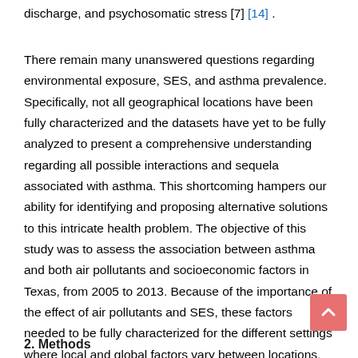discharge, and psychosomatic stress [7] [14] .
There remain many unanswered questions regarding environmental exposure, SES, and asthma prevalence. Specifically, not all geographical locations have been fully characterized and the datasets have yet to be fully analyzed to present a comprehensive understanding regarding all possible interactions and sequela associated with asthma. This shortcoming hampers our ability for identifying and proposing alternative solutions to this intricate health problem. The objective of this study was to assess the association between asthma and both air pollutants and socioeconomic factors in Texas, from 2005 to 2013. Because of the importance of the effect of air pollutants and SES, these factors needed to be fully characterized for the different settings where local and global factors vary between locations.
2. Methods